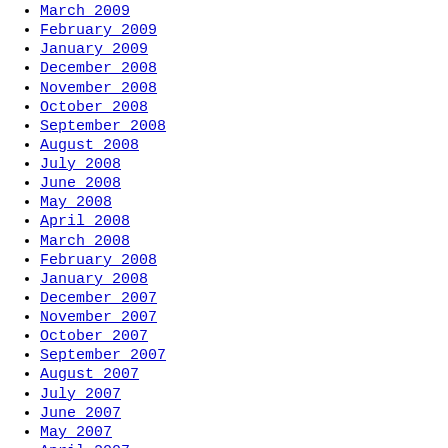March 2009
February 2009
January 2009
December 2008
November 2008
October 2008
September 2008
August 2008
July 2008
June 2008
May 2008
April 2008
March 2008
February 2008
January 2008
December 2007
November 2007
October 2007
September 2007
August 2007
July 2007
June 2007
May 2007
April 2007
March 2007
February 2007
January 2007
December 2006
October 2006